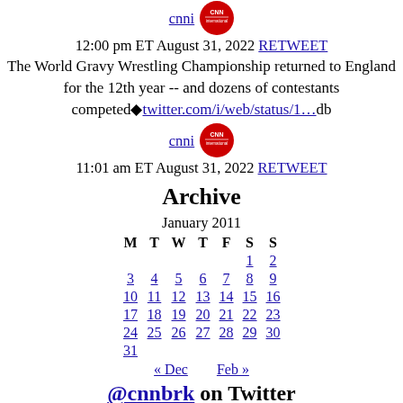[Figure (logo): CNN International circular red logo next to cnni link]
cnni
12:00 pm ET August 31, 2022 RETWEET
The World Gravy Wrestling Championship returned to England for the 12th year -- and dozens of contestants competed twitter.com/i/web/status/1...db
[Figure (logo): CNN International circular red logo next to cnni link]
cnni
11:01 am ET August 31, 2022 RETWEET
Archive
| M | T | W | T | F | S | S |
| --- | --- | --- | --- | --- | --- | --- |
|  |  |  |  |  | 1 | 2 |
| 3 | 4 | 5 | 6 | 7 | 8 | 9 |
| 10 | 11 | 12 | 13 | 14 | 15 | 16 |
| 17 | 18 | 19 | 20 | 21 | 22 | 23 |
| 24 | 25 | 26 | 27 | 28 | 29 | 30 |
| 31 |  |  |  |  |  |  |
« Dec   Feb »
@cnnbrk on Twitter